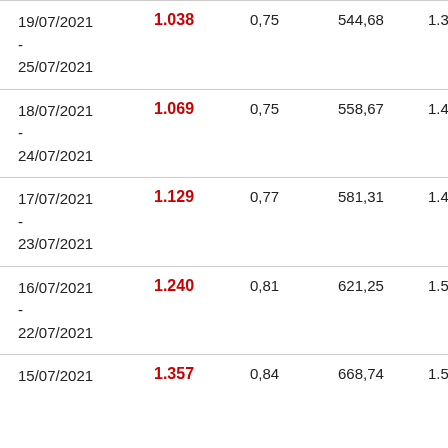| Date | Value1 | Value2 | Value3 | Value4 |
| --- | --- | --- | --- | --- |
| 19/07/2021 - 25/07/2021 | 1.038 | 0,75 | 544,68 | 1.375,41 |
| 18/07/2021 - 24/07/2021 | 1.069 | 0,75 | 558,67 | 1.405,04 |
| 17/07/2021 - 23/07/2021 | 1.129 | 0,77 | 581,31 | 1.446,46 |
| 16/07/2021 - 22/07/2021 | 1.240 | 0,81 | 621,25 | 1.518,62 |
| 15/07/2021 | 1.357 | 0,84 | 668,74 | 1.596,66 |